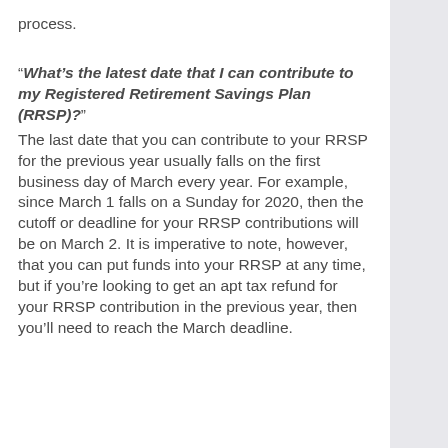process.
“What’s the latest date that I can contribute to my Registered Retirement Savings Plan (RRSP)?”
The last date that you can contribute to your RRSP for the previous year usually falls on the first business day of March every year. For example, since March 1 falls on a Sunday for 2020, then the cutoff or deadline for your RRSP contributions will be on March 2. It is imperative to note, however, that you can put funds into your RRSP at any time, but if you’re looking to get an apt tax refund for your RRSP contribution in the previous year, then you’ll need to reach the March deadline.